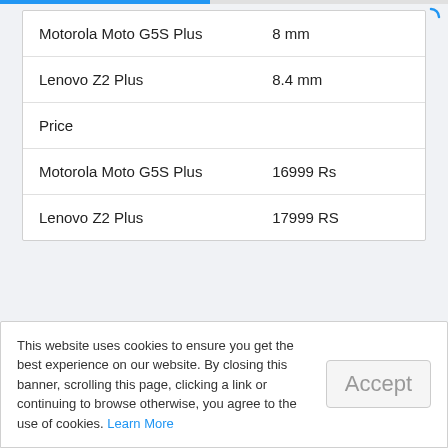| Device | Value |
| --- | --- |
| Motorola Moto G5S Plus | 8 mm |
| Lenovo Z2 Plus | 8.4 mm |
| Price |  |
| Motorola Moto G5S Plus | 16999 Rs |
| Lenovo Z2 Plus | 17999 RS |
This website uses cookies to ensure you get the best experience on our website. By closing this banner, scrolling this page, clicking a link or continuing to browse otherwise, you agree to the use of cookies. Learn More